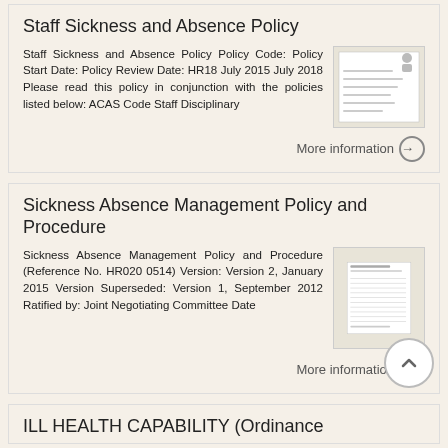Staff Sickness and Absence Policy
Staff Sickness and Absence Policy Policy Code: Policy Start Date: Policy Review Date: HR18 July 2015 July 2018 Please read this policy in conjunction with the policies listed below: ACAS Code Staff Disciplinary
[Figure (screenshot): Thumbnail preview of Staff Sickness and Absence Policy document]
More information →
Sickness Absence Management Policy and Procedure
Sickness Absence Management Policy and Procedure (Reference No. HR020 0514) Version: Version 2, January 2015 Version Superseded: Version 1, September 2012 Ratified by: Joint Negotiating Committee Date
[Figure (screenshot): Thumbnail preview of Sickness Absence Management Policy and Procedure document]
More information →
ILL HEALTH CAPABILITY (Ordinance